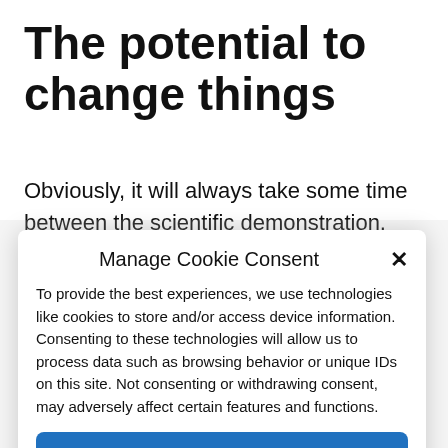The potential to change things
Obviously, it will always take some time between the scientific demonstration, which has just been made, and the daily application of this research. Nevertheless,
Manage Cookie Consent
To provide the best experiences, we use technologies like cookies to store and/or access device information. Consenting to these technologies will allow us to process data such as browsing behavior or unique IDs on this site. Not consenting or withdrawing consent, may adversely affect certain features and functions.
Accept
Cookie Policy